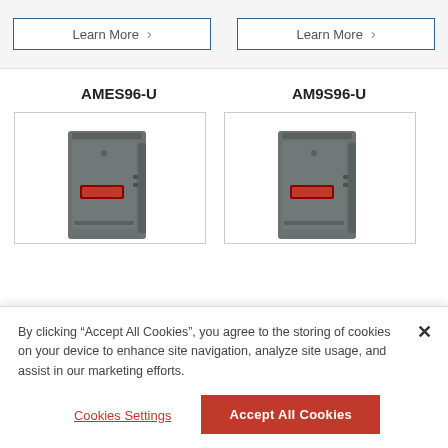Learn More >
Learn More >
AMES96-U
AM9S96-U
[Figure (photo): Photo of AMES96-U furnace unit, dark grey box-shaped HVAC equipment with red display panel]
[Figure (photo): Photo of AM9S96-U furnace unit, dark grey box-shaped HVAC equipment with red display panel]
By clicking “Accept All Cookies”, you agree to the storing of cookies on your device to enhance site navigation, analyze site usage, and assist in our marketing efforts.
Cookies Settings
Accept All Cookies